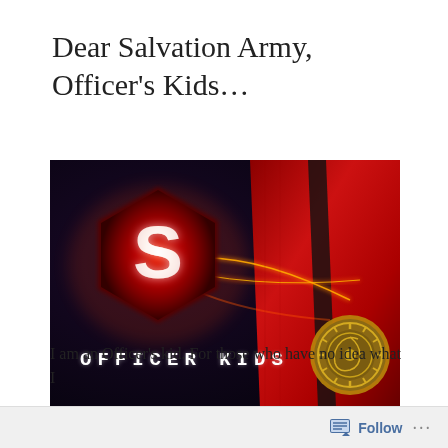Dear Salvation Army, Officer’s Kids…
[Figure (photo): Dark background image showing a Salvation Army uniform with a red hexagonal 'S' logo glowing in orange light, text reading 'OFFICER KIDS' in white monospace letters, and a gold Salvation Army badge on red fabric]
I am an Officer’s kid. For those who have no idea what I
Follow ···